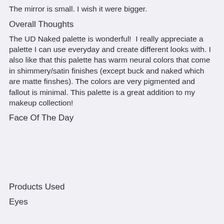The mirror is small. I wish it were bigger.
Overall Thoughts
The UD Naked palette is wonderful!  I really appreciate a palette I can use everyday and create different looks with. I also like that this palette has warm neural colors that come in shimmery/satin finishes (except buck and naked which are matte finshes). The colors are very pigmented and fallout is minimal. This palette is a great addition to my makeup collection!
Face Of The Day
Products Used
Eyes